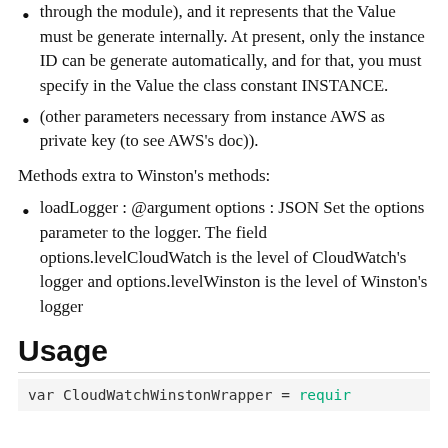through the module), and it represents that the Value must be generate internally. At present, only the instance ID can be generate automatically, and for that, you must specify in the Value the class constant INSTANCE.
(other parameters necessary from instance AWS as private key (to see AWS's doc)).
Methods extra to Winston's methods:
loadLogger : @argument options : JSON Set the options parameter to the logger. The field options.levelCloudWatch is the level of CloudWatch's logger and options.levelWinston is the level of Winston's logger
Usage
var CloudWatchWinstonWrapper = requir